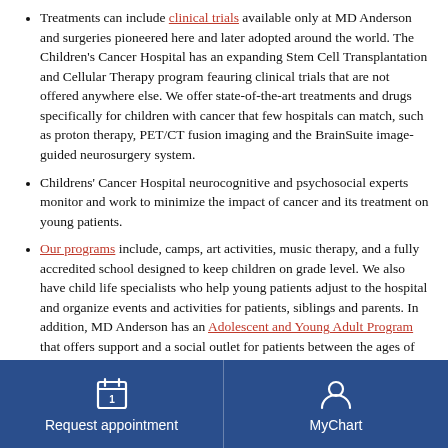Treatments can include clinical trials available only at MD Anderson and surgeries pioneered here and later adopted around the world. The Children's Cancer Hospital has an expanding Stem Cell Transplantation and Cellular Therapy program feauring clinical trials that are not offered anywhere else. We offer state-of-the-art treatments and drugs specifically for children with cancer that few hospitals can match, such as proton therapy, PET/CT fusion imaging and the BrainSuite image-guided neurosurgery system.
Childrens' Cancer Hospital neurocognitive and psychosocial experts monitor and work to minimize the impact of cancer and its treatment on young patients.
Our programs include, camps, art activities, music therapy, and a fully accredited school designed to keep children on grade level. We also have child life specialists who help young patients adjust to the hospital and organize events and activities for patients, siblings and parents. In addition, MD Anderson has an Adolescent and Young Adult Program that offers support and a social outlet for patients between the ages of 15 and 29.
We offer a survivorship program for patients who have
Request appointment | MyChart